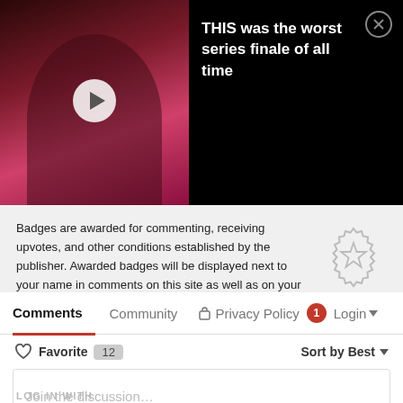[Figure (screenshot): Video thumbnail showing a person with pink background and a play button overlay]
THIS was the worst series finale of all time
Badges are awarded for commenting, receiving upvotes, and other conditions established by the publisher. Awarded badges will be displayed next to your name in comments on this site as well as on your profile.
See the available badges
Comments
Community
Privacy Policy
Login
Favorite  12
Sort by Best
Join the discussion...
LOG IN WITH